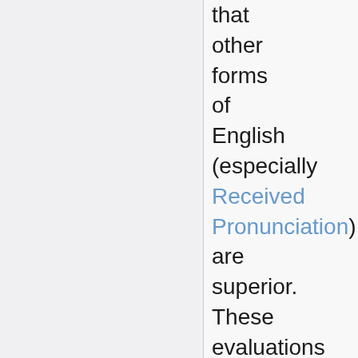that other forms of English (especially Received Pronunciation) are superior. These evaluations of Australian English are